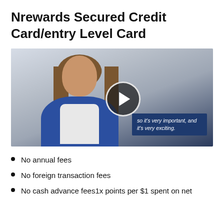Nrewards Secured Credit Card/entry Level Card
[Figure (photo): Video thumbnail showing a woman smiling, wearing a blue cardigan over a white striped shirt, with a dark blue subtitle overlay reading 'so it's very important, and it's very exciting.' and a play button in the center.]
No annual fees
No foreign transaction fees
No cash advance fees1x points per $1 spent on net